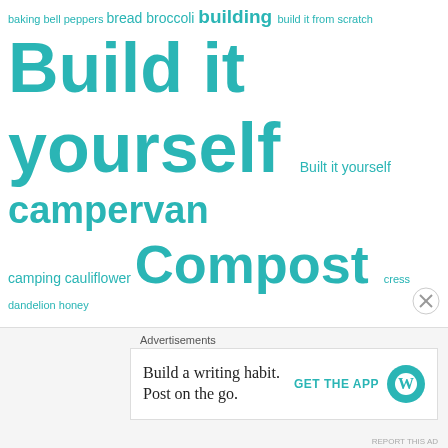[Figure (infographic): Tag cloud of topics related to gardening, homesteading, and DIY living in teal/turquoise color. Tags vary in font size indicating frequency/importance. Tags include: baking, bell peppers, bread, broccoli, building, build it from scratch, Build it yourself, Built it yourself, campervan, camping, cauliflower, Compost, cress, dandelion honey, dehydrating, Digging, Discovery apple tree, do it yourself, Food, food for free, foraging, Fruit, Garden, Gardening, Growing, Grow it, Grow your own, herbs, Homemade, isolation baking, Isolation gardening, Jam, Made From Scratch, Make it yourself, Off Grid, off grid dreaming, Off Grid Farming, Off Grid...]
Advertisements
Build a writing habit. Post on the go.
GET THE APP